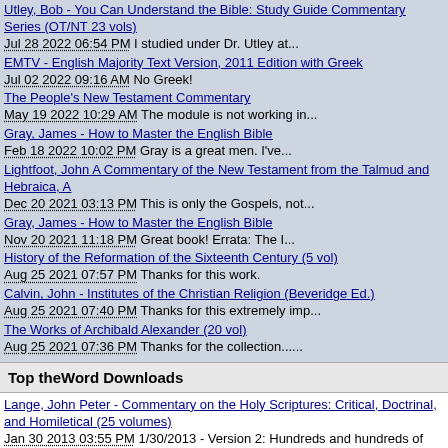Utley, Bob - You Can Understand the Bible: Study Guide Commentary Series (OT/NT 23 vols)
Jul 28 2022 06:54 PM I studied under Dr. Utley at...
EMTV - English Majority Text Version, 2011 Edition with Greek
Jul 02 2022 09:16 AM No Greek!
The People's New Testament Commentary
May 19 2022 10:29 AM The module is not working in...
Gray, James - How to Master the English Bible
Feb 18 2022 10:02 PM Gray is a great men. I've...
Lightfoot, John A Commentary of the New Testament from the Talmud and Hebraica, A
Dec 20 2021 03:13 PM This is only the Gospels, not...
Gray, James - How to Master the English Bible
Nov 20 2021 11:18 PM Great book! Errata: The I...
History of the Reformation of the Sixteenth Century (5 vol)
Aug 25 2021 07:57 PM Thanks for this work.
Calvin, John - Institutes of the Christian Religion (Beveridge Ed.)
Aug 25 2021 07:40 PM Thanks for this extremely imp...
The Works of Archibald Alexander (20 vol)
Aug 25 2021 07:36 PM Thanks for the collection......
Top theWord Downloads
Lange, John Peter - Commentary on the Holy Scriptures: Critical, Doctrinal, and Homiletical (25 volumes)
Jan 30 2013 03:55 PM 1/30/2013 - Version 2: Hundreds and hundreds of changes. Too many to list individually The most common issue was blank passages (no commentary) and misplaced passages (commentary appearing in the wrong verse). Overlapping comments were also creating p...
McClintock, John & Strong, James - Cyclopedia of Biblical, Theological and Ecclesiastical Literature (12 vols)